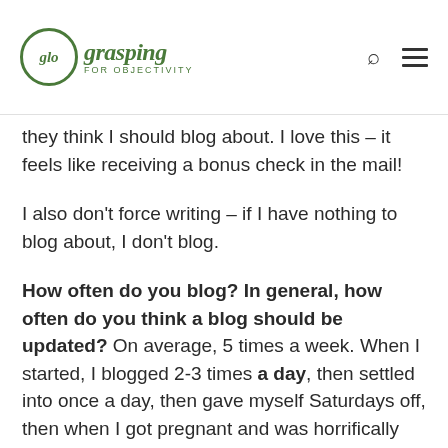glo grasping FOR OBJECTIVITY
they think I should blog about. I love this – it feels like receiving a bonus check in the mail!
I also don't force writing – if I have nothing to blog about, I don't blog.
How often do you blog? In general, how often do you think a blog should be updated? On average, 5 times a week. When I started, I blogged 2-3 times a day, then settled into once a day, then gave myself Saturdays off, then when I got pregnant and was horrifically sick, let myself off the hook for a daily schedule.
[partial text cut off at bottom]